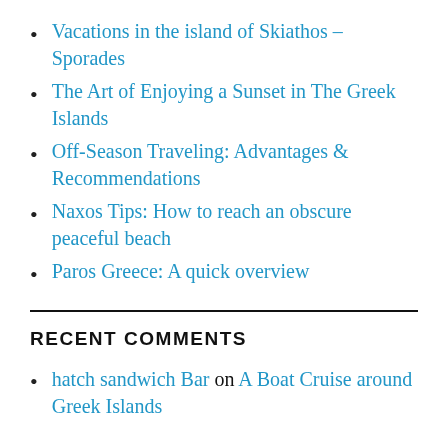Vacations in the island of Skiathos – Sporades
The Art of Enjoying a Sunset in The Greek Islands
Off-Season Traveling: Advantages & Recommendations
Naxos Tips: How to reach an obscure peaceful beach
Paros Greece: A quick overview
RECENT COMMENTS
hatch sandwich Bar on A Boat Cruise around Greek Islands